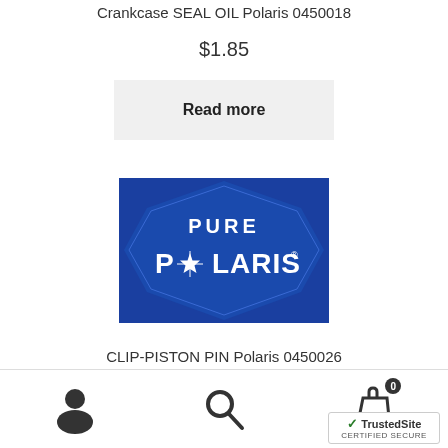Crankcase SEAL OIL Polaris 0450018
$1.85
Read more
[Figure (logo): Pure Polaris logo — blue hexagonal badge shape with white text reading PURE POLARIS and a star/compass icon in the O of POLARIS]
CLIP-PISTON PIN Polaris 0450026
$1.00
Add to cart
[Figure (logo): TrustedSite certified secure badge with green checkmark]
0